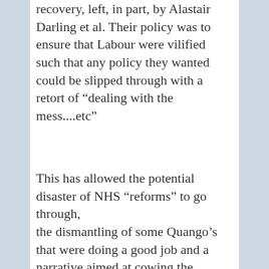recovery, left, in part, by Alastair Darling et al. Their policy was to ensure that Labour were vilified such that any policy they wanted could be slipped through with a retort of “dealing with the mess....etc”
This has allowed the potential disaster of NHS “reforms” to go through, the dismantling of some Quango’s that were doing a good job and a narrative aimed at cowing the workers